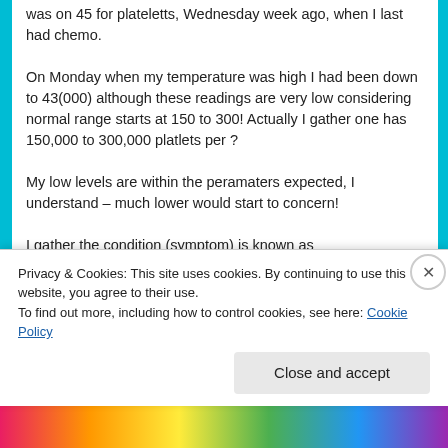was on 45 for plateletts, Wednesday week ago, when I last had chemo.
On Monday when my temperature was high I had been down to 43(000) although these readings are very low considering normal range starts at 150 to 300! Actually I gather one has 150,000 to 300,000 platlets per ?
My low levels are within the peramaters expected, I understand – much lower would start to concern!
I gather the condition (symptom) is known as PETECHIAE
Privacy & Cookies: This site uses cookies. By continuing to use this website, you agree to their use.
To find out more, including how to control cookies, see here: Cookie Policy
Close and accept